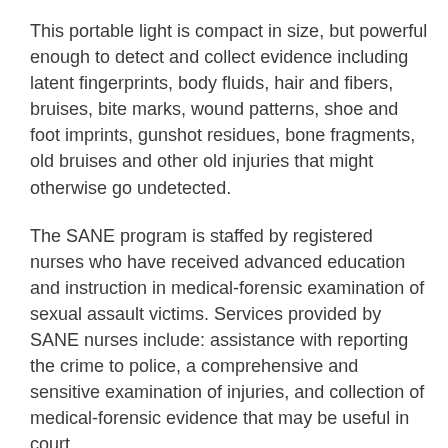This portable light is compact in size, but powerful enough to detect and collect evidence including latent fingerprints, body fluids, hair and fibers, bruises, bite marks, wound patterns, shoe and foot imprints, gunshot residues, bone fragments, old bruises and other old injuries that might otherwise go undetected.
The SANE program is staffed by registered nurses who have received advanced education and instruction in medical-forensic examination of sexual assault victims. Services provided by SANE nurses include: assistance with reporting the crime to police, a comprehensive and sensitive examination of injuries, and collection of medical-forensic evidence that may be useful in court.
SANE is provided in partnership with People Against Domestic and Sexual Abuse (PADA), Jefferson County's program for domestic and sexual abuse victims.  PADA